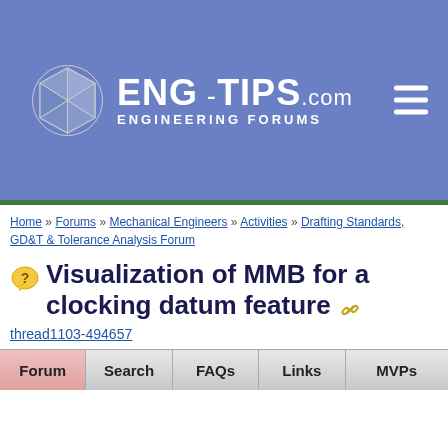[Figure (logo): Eng-Tips.com Engineering Forums logo with geometric sphere icon and site name]
Home » Forums » Mechanical Engineers » Activities » Drafting Standards, GD&T & Tolerance Analysis Forum
Visualization of MMB for a clocking datum feature 🔗
thread1103-494657
| Forum | Search | FAQs | Links | MVPs |
| --- | --- | --- | --- | --- |